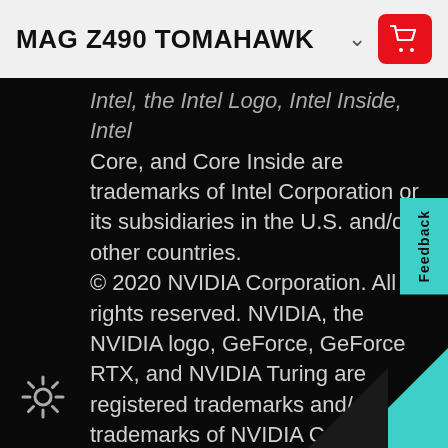MAG Z490 TOMAHAWK
Intel, the Intel Logo, Intel Inside, Intel Core, and Core Inside are trademarks of Intel Corporation or its subsidiaries in the U.S. and/or other countries. © 2020 NVIDIA Corporation. All rights reserved. NVIDIA, the NVIDIA logo, GeForce, GeForce RTX, and NVIDIA Turing are registered trademarks and/or trademarks of NVIDIA Corporation in the United States and other countries. All other trademarks and copyrights are the property of their respective owners Brand and product names mentioned are trademarks of their respective owners.